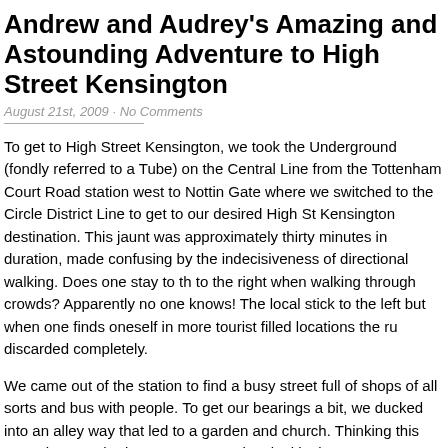Andrew and Audrey's Amazing and Astounding Adventure to High Street Kensington
August 21st, 2009 · No Comments
To get to High Street Kensington, we took the Underground (fondly referred to as the Tube) on the Central Line from the Tottenham Court Road station west to Notting Gate where we switched to the Circle District Line to get to our desired High Street Kensington destination. This jaunt was approximately thirty minutes in duration, made confusing by the indecisiveness of directional walking. Does one stay to the left, to the right when walking through crowds? Apparently no one knows! The locals stick to the left but when one finds oneself in more tourist filled locations the rule is discarded completely.
We came out of the station to find a busy street full of shops of all sorts and bustling with people. To get our bearings a bit, we ducked into an alley way that led to a garden and church. Thinking this was where we had to go, we spent time looking at the cemetery, school, park, etc around there. Europe at its finest. You couldn't even the busy street literally right on the other side of the buildings. This was an area in the middle of London that had a true small town feel to it. When we reflected on w